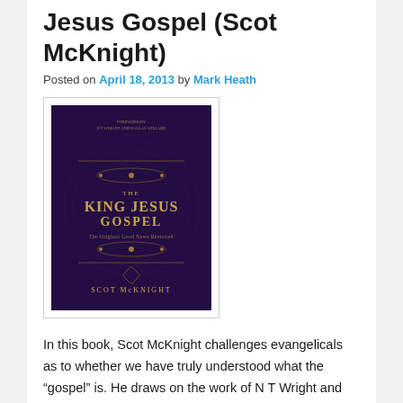Jesus Gospel (Scot McKnight)
Posted on April 18, 2013 by Mark Heath
[Figure (photo): Book cover of 'The King Jesus Gospel' by Scot McKnight, dark purple background with ornate design and gold text.]
In this book, Scot McKnight challenges evangelicals as to whether we have truly understood what the “gospel” is. He draws on the work of N T Wright and Dallas Willard, both of whom provide forewords. He claims that many evangelicals would be better termed “soterians”, since it is salvation, rather than the gospel, that we have placed the emphasis on. When we use the word “gospel” we assume it means something like “instructions for how to become a